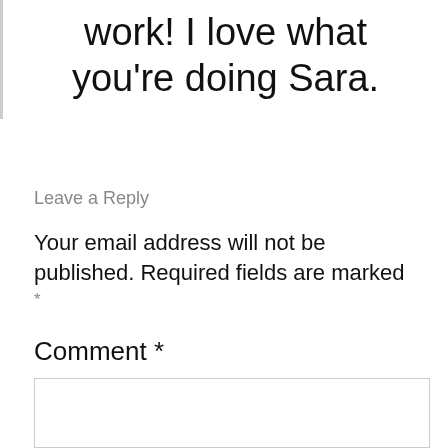work! I love what you're doing Sara.
Leave a Reply
Your email address will not be published. Required fields are marked *
Comment *